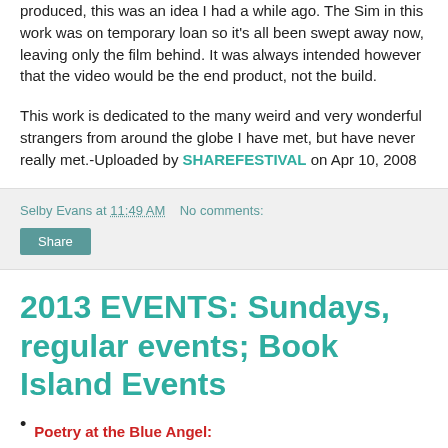produced, this was an idea I had a while ago. The Sim in this work was on temporary loan so it's all been swept away now, leaving only the film behind. It was always intended however that the video would be the end product, not the build.
This work is dedicated to the many weird and very wonderful strangers from around the globe I have met, but have never really met.-Uploaded by SHAREFESTIVAL on Apr 10, 2008
Selby Evans at 11:49 AM   No comments:
Share
2013 EVENTS: Sundays, regular events; Book Island Events
Poetry at the Blue Angel: